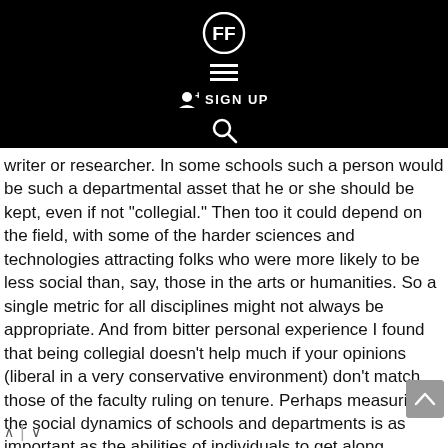[Figure (logo): Website header with logo (FF icon), hamburger menu, SIGN UP button, and search icon on black background]
writer or researcher. In some schools such a person would be such a departmental asset that he or she should be kept, even if not "collegial." Then too it could depend on the field, with some of the harder sciences and technologies attracting folks who were more likely to be less social than, say, those in the arts or humanities. So a single metric for all disciplines might not always be appropriate. And from bitter personal experience I found that being collegial doesn&#039t help much if your opinions (liberal in a very conservative environment) don&#039t match those of the faculty ruling on tenure. Perhaps measuring the social dynamics of schools and departments is as important as the abilities of individuals to get along.